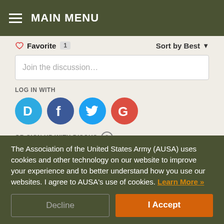MAIN MENU
Favorite 1   Sort by Best
Join the discussion...
LOG IN WITH
[Figure (other): Social login icons: Disqus (D), Facebook (f), Twitter bird, Google (G)]
OR SIGN UP WITH DISQUS ?
Name
The Association of the United States Army (AUSA) uses cookies and other technology on our website to improve your experience and to better understand how you use our websites. I agree to AUSA's use of cookies. Learn More »
Decline
I Accept